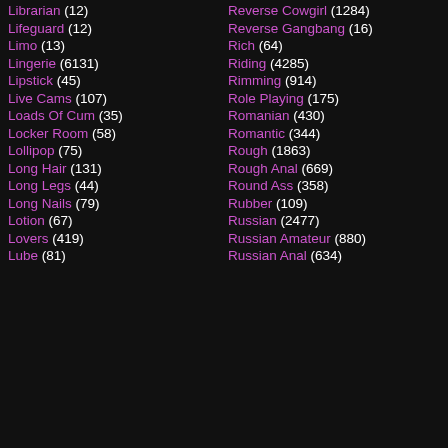Librarian (12)
Lifeguard (12)
Limo (13)
Lingerie (6131)
Lipstick (45)
Live Cams (107)
Loads Of Cum (35)
Locker Room (58)
Lollipop (75)
Long Hair (131)
Long Legs (44)
Long Nails (79)
Lotion (67)
Lovers (419)
Lube (81)
Reverse Cowgirl (1284)
Reverse Gangbang (16)
Rich (64)
Riding (4285)
Rimming (914)
Role Playing (175)
Romanian (430)
Romantic (344)
Rough (1863)
Rough Anal (669)
Round Ass (358)
Rubber (109)
Russian (2477)
Russian Amateur (880)
Russian Anal (634)